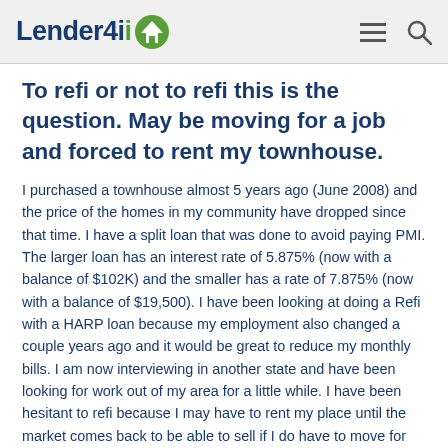Lender4ii [logo with house icon] [menu icon] [search icon]
To refi or not to refi this is the question. May be moving for a job and forced to rent my townhouse.
I purchased a townhouse almost 5 years ago (June 2008) and the price of the homes in my community have dropped since that time. I have a split loan that was done to avoid paying PMI. The larger loan has an interest rate of 5.875% (now with a balance of $102K) and the smaller has a rate of 7.875% (now with a balance of $19,500). I have been looking at doing a Refi with a HARP loan because my employment also changed a couple years ago and it would be great to reduce my monthly bills. I am now interviewing in another state and have been looking for work out of my area for a little while. I have been hesitant to refi because I may have to rent my place until the market comes back to be able to sell if I do have to move for work. So, I'm not sure what types of things I